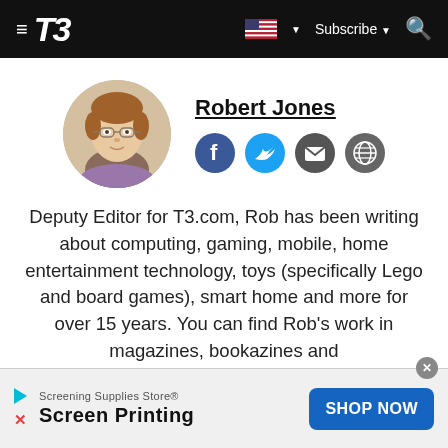T3 — Subscribe
[Figure (photo): Circular profile photo of Robert Jones, a man with glasses and light brown hair]
Robert Jones
[Figure (infographic): Social media icons: Facebook, Twitter, Email, Website globe]
Deputy Editor for T3.com, Rob has been writing about computing, gaming, mobile, home entertainment technology, toys (specifically Lego and board games), smart home and more for over 15 years. You can find Rob's work in magazines, bookazines and
[Figure (infographic): Advertisement banner: Screening Supplies Store — Screen Printing — SHOP NOW button]